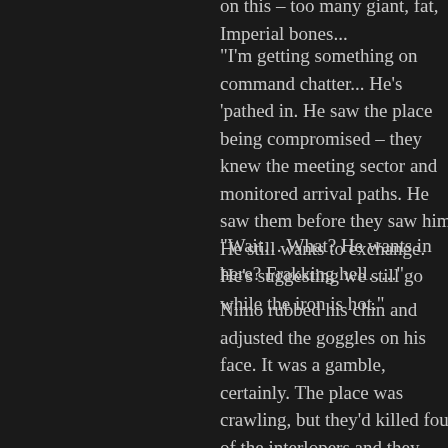on this – too many giant, fat, Imperial bones...
“I’m getting something on command chatter... He’s ‘pathed in. He saw the place being compromised – they knew the meeting sector and monitored arrival paths. He saw them before they saw him. He still wants to exchange. He’s suggesting we still go while the iron is hot.”
“Wait… What? He wants in here? Frakking hell…..”
Nimo rubbed his chin and adjusted the goggles on his face. It was a gamble, certainly. The place was crawling, but they’d killed four of the interlopers and they didn’t look like arbites or local PDF – these were heavies for some local criminal or worse, some trade rival who was already on the trail of the prize and wanted the Inquisitorial reward for himself.
No gamble, no payoff, as his old man had always said.
“Well, Nimo?”
“Tell him we’re...